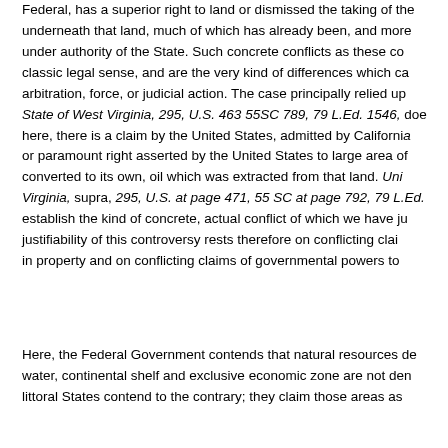Federal, has a superior right to land or dismissed the taking of the underneath that land, much of which has already been, and more under authority of the State. Such concrete conflicts as these constitute classic legal sense, and are the very kind of differences which can arbitration, force, or judicial action. The case principally relied upon State of West Virginia, 295, U.S. 463 55SC 789, 79 L.Ed. 1546, does here, there is a claim by the United States, admitted by California, or paramount right asserted by the United States to large area of converted to its own, oil which was extracted from that land. United States v. Virginia, supra, 295, U.S. at page 471, 55 SC at page 792, 79 L.Ed. establish the kind of concrete, actual conflict of which we have justifiability of this controversy rests therefore on conflicting claims in property and on conflicting claims of governmental powers to
Here, the Federal Government contends that natural resources derived from water, continental shelf and exclusive economic zone are not denied; the littoral States contend to the contrary; they claim those areas as